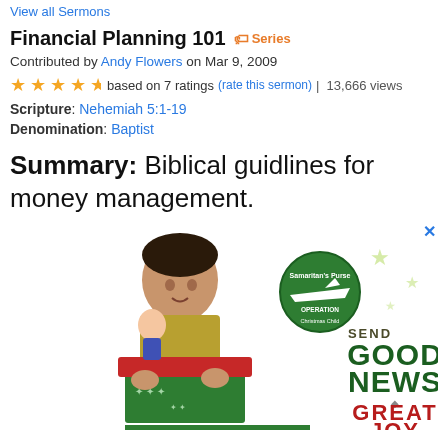View all Sermons
Financial Planning 101  🏷 Series
Contributed by Andy Flowers on Mar 9, 2009
★★★★½ based on 7 ratings (rate this sermon) | 13,666 views
Scripture: Nehemiah 5:1-19
Denomination: Baptist
Summary: Biblical guidlines for money management.
[Figure (photo): Advertisement for Operation Christmas Child by Samaritan's Purse showing a boy holding a gift box with text SEND GOOD NEWS GREAT JOY]